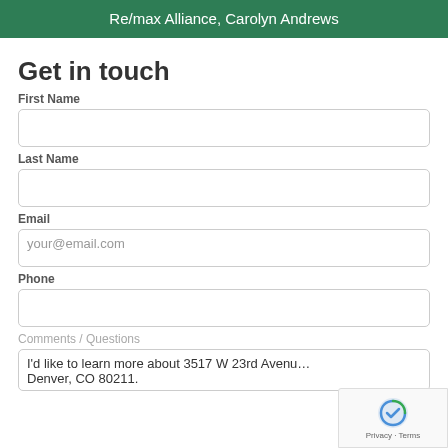Re/max Alliance, Carolyn Andrews
Get in touch
First Name
Last Name
Email
your@email.com
Phone
Comments / Questions
I'd like to learn more about 3517 W 23rd Avenue, Denver, CO 80211.